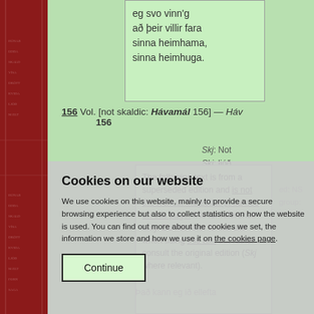[Figure (illustration): Decorative red spine with runic/medieval dictionary text patterns]
eg svo vinn'g
að þeir villir fara
sinna heimhama,
sinna heimhuga.
156 Vol. [not skaldic: Hávamál 156] — Hávamál 156
Skj: Not
Skj; ljóð
The following text is from a superseded edition and is not the work of the editor(s) named on this page. It is for reference only. Do not refer to this site when using this text but rather consult the original edition (Skj where relevant).
Það kann eg ið ellefta
Cookies on our website
We use cookies on this website, mainly to provide a secure browsing experience but also to collect statistics on how the website is used. You can find out more about the cookies we set, the information we store and how we use it on the cookies page.